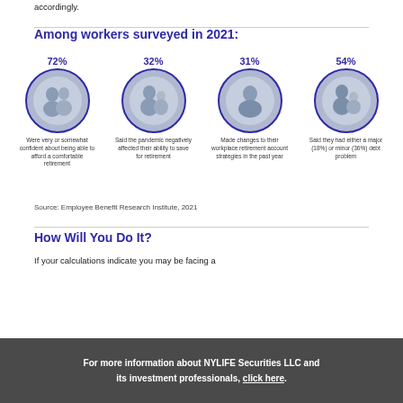accordingly.
Among workers surveyed in 2021:
[Figure (infographic): Four circular photo statistics: 72% Were very or somewhat confident about being able to afford a comfortable retirement; 32% Said the pandemic negatively affected their ability to save for retirement; 31% Made changes to their workplace retirement account strategies in the past year; 54% Said they had either a major (18%) or minor (36%) debt problem.]
Source: Employee Benefit Research Institute, 2021
How Will You Do It?
If your calculations indicate you may be facing a
For more information about NYLIFE Securities LLC and its investment professionals, click here.